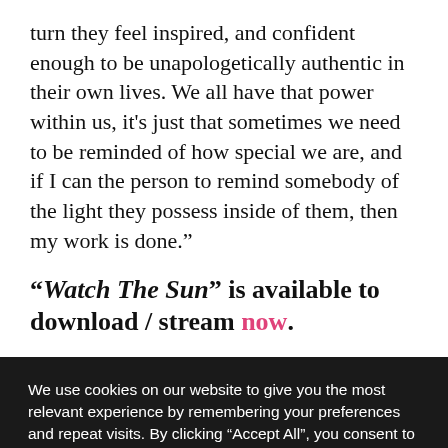turn they feel inspired, and confident enough to be unapologetically authentic in their own lives. We all have that power within us, it's just that sometimes we need to be reminded of how special we are, and if I can the person to remind somebody of the light they possess inside of them, then my work is done."
"Watch The Sun" is available to download / stream now.
We use cookies on our website to give you the most relevant experience by remembering your preferences and repeat visits. By clicking "Accept All", you consent to the use of ALL the cookies. However, you may visit "Cookie Settings" to provide a controlled consent.